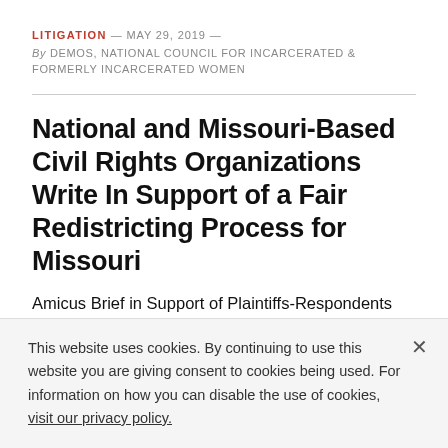LITIGATION — MAY 29, 2019 — By DEMOS, NATIONAL COUNCIL FOR INCARCERATED & FORMERLY INCARCERATED WOMEN
National and Missouri-Based Civil Rights Organizations Write In Support of a Fair Redistricting Process for Missouri
Amicus Brief in Support of Plaintiffs-Respondents
This website uses cookies. By continuing to use this website you are giving consent to cookies being used. For information on how you can disable the use of cookies, visit our privacy policy.